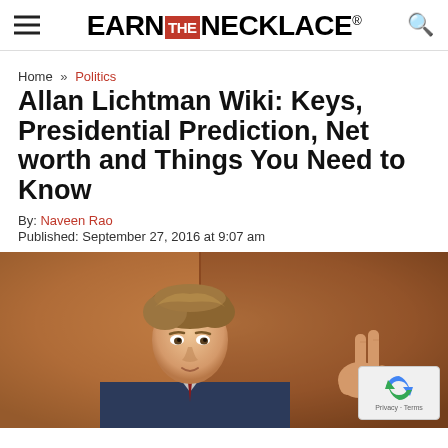EARN THE NECKLACE®
Home » Politics
Allan Lichtman Wiki: Keys, Presidential Prediction, Net worth and Things You Need to Know
By: Naveen Rao
Published: September 27, 2016 at 9:07 am
[Figure (photo): Photo of Allan Lichtman, a man in a suit with brown hair, gesturing with his hand making a peace/two-finger sign, background is warm brown/orange tones]